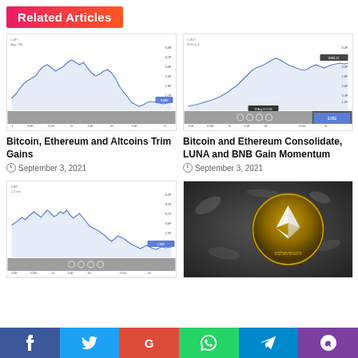Related Articles
[Figure (line-chart): Bitcoin/Ethereum price line chart showing a rise then decline, interactive trading chart with navigation controls]
Bitcoin, Ethereum and Altcoins Trim Gains
September 3, 2021
[Figure (line-chart): Bitcoin and Ethereum price chart showing upward trend then consolidation, with navigation dots and date tooltip]
Bitcoin and Ethereum Consolidate, LUNA and BNB Gain Momentum
September 3, 2021
[Figure (line-chart): Cryptocurrency price line chart showing volatile movement with decline, with navigation dots]
[Figure (photo): Gold Ethereum coin physical token on metallic background with ethereum text]